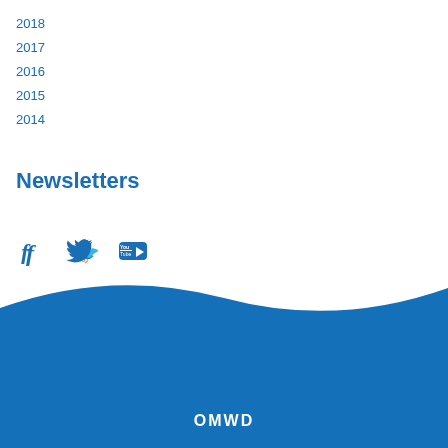2018
2017
2016
2015
2014
Newsletters
[Figure (illustration): Social media icons: Facebook (f), Twitter (bird), YouTube (YouTube logo)]
[Figure (illustration): Blue wave decorative footer with OMWD text]
OMWD